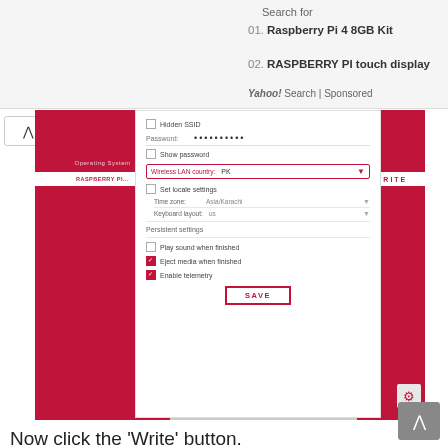Search for
01. Raspberry Pi 4 8GB Kit
02. RASPBERRY PI touch display
Yahoo! Search | Sponsored
[Figure (screenshot): Raspberry Pi Imager settings dialog showing: Hidden SSID checkbox, Password field with dots, Show password checkbox, Wireless LAN country dropdown set to PK (highlighted in red), Set locale settings checkbox, Timezone Asia/Karachi, Keyboard layout US. Persistent settings section with Play sound when finished (unchecked), Eject media when finished (checked), Enable telemetry (checked). SAVE button outlined in red at the bottom.]
Now click the 'Write' button.